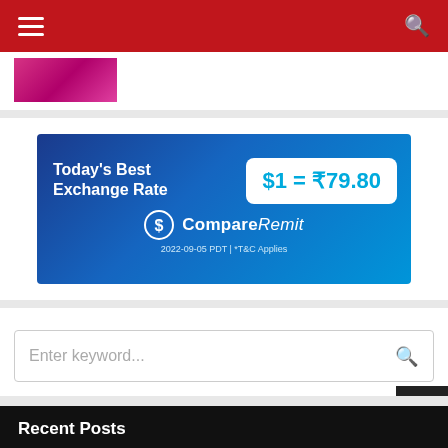[Figure (screenshot): Red navigation bar with hamburger menu icon on left and search icon on right]
[Figure (photo): Partial pink/magenta banner image visible below nav bar]
[Figure (infographic): CompareRemit advertisement banner showing Today's Best Exchange Rate $1 = ₹79.80, with CompareRemit logo, dated 2022-09-05 PDT, *T&C Applies]
[Figure (screenshot): Search box with placeholder text 'Enter keyword...' and search icon on the right]
[Figure (screenshot): Back to top button (dark square with up arrow chevron) in bottom right]
Recent Posts